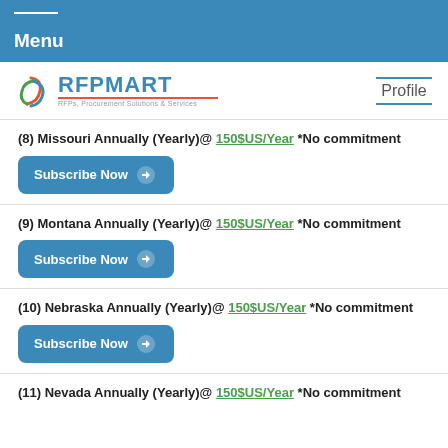Menu
[Figure (logo): RFPMART logo with tagline RFPs, Procurement Solutions & Services]
Profile
(8) Missouri Annually (Yearly)@ 150$US/Year *No commitment
(9) Montana Annually (Yearly)@ 150$US/Year *No commitment
(10) Nebraska Annually (Yearly)@ 150$US/Year *No commitment
(11) Nevada Annually (Yearly)@ 150$US/Year *No commitment